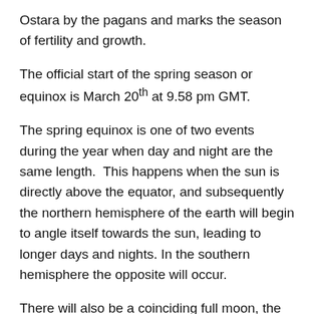Ostara by the pagans and marks the season of fertility and growth.
The official start of the spring season or equinox is March 20th at 9.58 pm GMT.
The spring equinox is one of two events during the year when day and night are the same length.  This happens when the sun is directly above the equator, and subsequently the northern hemisphere of the earth will begin to angle itself towards the sun, leading to longer days and nights. In the southern hemisphere the opposite will occur.
There will also be a coinciding full moon, the last of the three supermoons of 2019.  It will be the first time that the full moon and the equinox have occurred on the same day since 1981, so it's a special sort of day!  The Super Worm Moon will peak at 1.43 am GMT on March